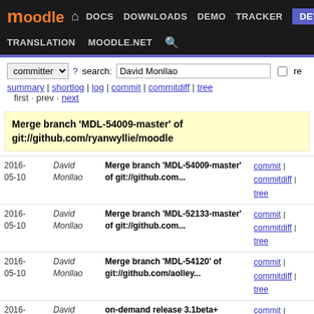moodle | DOCS DOWNLOADS DEMO TRACKER DEV | TRANSLATION MOODLE.NET
committer ▼  ? search: David Monllao  ☐ re
summary | shortlog | log | commit | commitdiff | tree
first · prev · next
Merge branch 'MDL-54009-master' of git://github.com/ryanwyllie/moodle
| Date | Author | Message | Links |
| --- | --- | --- | --- |
| 2016-05-10 | David Monllao | Merge branch 'MDL-54009-master' of git://github.com... | commit | commitdiff | tree |
| 2016-05-10 | David Monllao | Merge branch 'MDL-52133-master' of git://github.com... | commit | commitdiff | tree |
| 2016-05-10 | David Monllao | Merge branch 'MDL-54120' of git://github.com/aolley... | commit | commitdiff | tree |
| 2016-05-10 | David Monllao | on-demand release 3.1beta+ | commit | commitdiff | tree |
| 2016-05-10 | David Monllao | Merge branch 'install_master' of https://git.in.moodle... | commit | commitdiff | tree |
| 2016-05-10 | Andrew Nicols | Merge branch 'MDL-54102_master' of git://github.com... | commit | commitdiff | tree |
| 2016-05-10 | Andrew Nicols | Merge branch 'MDL-54115_m31v1' of https://github.com... | commit | commitdiff | tree |